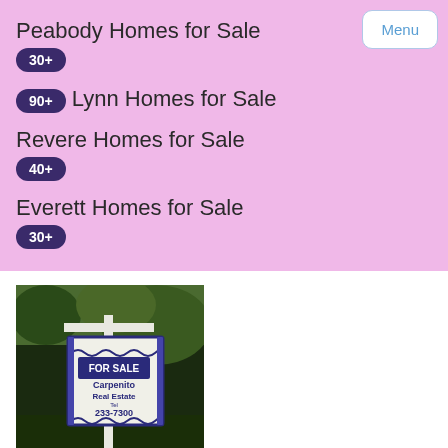Peabody Homes for Sale
30+
90+ Lynn Homes for Sale
Revere Homes for Sale
40+
Everett Homes for Sale
30+
[Figure (photo): A real estate for sale sign reading 'FOR SALE Carpenito Real Estate Tel 233-7300' on a white post in front of trees.]